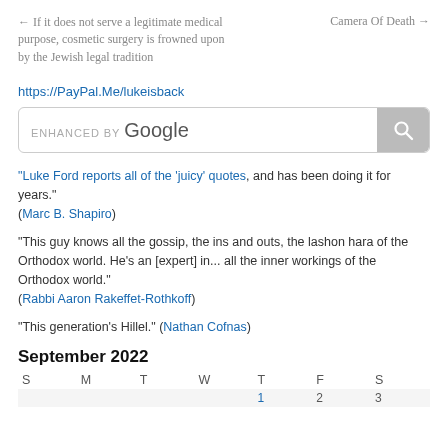← If it does not serve a legitimate medical purpose, cosmetic surgery is frowned upon by the Jewish legal tradition    Camera Of Death →
https://PayPal.Me/lukeisback
[Figure (screenshot): Google search bar with 'ENHANCED BY Google' text and a magnifying glass search button]
"Luke Ford reports all of the 'juicy' quotes, and has been doing it for years." (Marc B. Shapiro)
"This guy knows all the gossip, the ins and outs, the lashon hara of the Orthodox world. He's an [expert] in... all the inner workings of the Orthodox world." (Rabbi Aaron Rakeffet-Rothkoff)
"This generation's Hillel." (Nathan Cofnas)
September 2022
| S | M | T | W | T | F | S |
| --- | --- | --- | --- | --- | --- | --- |
|  |  |  |  | 1 | 2 | 3 |